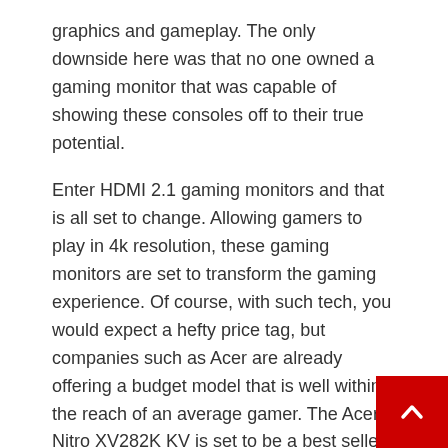graphics and gameplay. The only downside here was that no one owned a gaming monitor that was capable of showing these consoles off to their true potential.
Enter HDMI 2.1 gaming monitors and that is all set to change. Allowing gamers to play in 4k resolution, these gaming monitors are set to transform the gaming experience. Of course, with such tech, you would expect a hefty price tag, but companies such as Acer are already offering a budget model that is well within the reach of an average gamer. The Acer Nitro XV282K KV is set to be a best seller in 2021 and beyond.
Gaming gum
Not truly an advancement in gaming tech, but some definitely worthy of a mention! For years, gamers have tried their best to fight off the call of sleep. Whether it